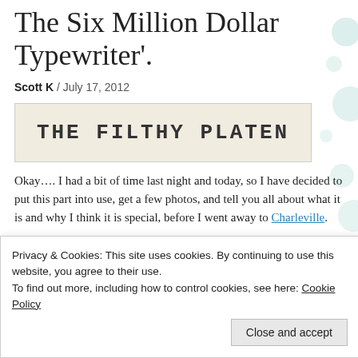The Six Million Dollar Typewriter'.
Scott K / July 17, 2012
[Figure (photo): Banner image with text 'THE FILTHY PLATEN' in bold monospace font on a light beige background]
Okay…. I had a bit of time last night and today, so I have decided to put this part into use, get a few photos, and tell you all about what it is and why I think it is special, before I went away to Charleville.
We have the technology. We can rebuild him.
[Figure (photo): Partial view of a geometric patterned image with blue/teal and beige tones]
Privacy & Cookies: This site uses cookies. By continuing to use this website, you agree to their use.
To find out more, including how to control cookies, see here: Cookie Policy
Close and accept